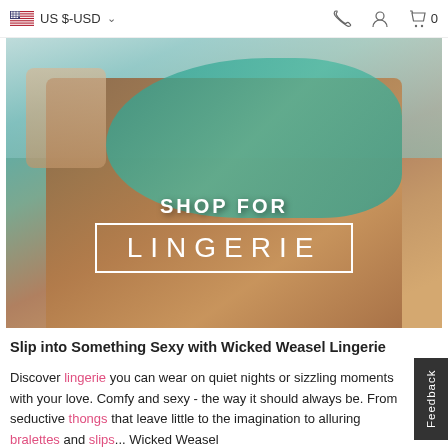US $-USD  [cart: 0]
[Figure (photo): Hero banner showing a model wearing teal lingerie, kneeling on a bed with a white chair and pillow in background. Overlaid text reads SHOP FOR LINGERIE in a white rectangle outline.]
Slip into Something Sexy with Wicked Weasel Lingerie
Discover lingerie you can wear on quiet nights or sizzling moments with your love. Comfy and sexy - the way it should always be. From seductive thongs that leave little to the imagination to alluring bralettes and slips... Wicked Weasel